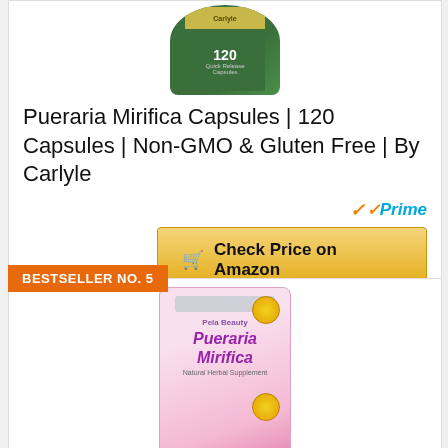[Figure (photo): Green supplement bottle with gold lid, Pueraria Mirifica capsules product, 120 capsules]
Pueraria Mirifica Capsules | 120 Capsules | Non-GMO & Gluten Free | By Carlyle
[Figure (logo): Amazon Prime checkmark logo with 'Prime' text in blue]
[Figure (other): Check Price on Amazon button with cart icon]
BESTSELLER NO. 5
[Figure (photo): Pink pouch bag of Pueraria Mirifica Natural Herbal Supplement product]